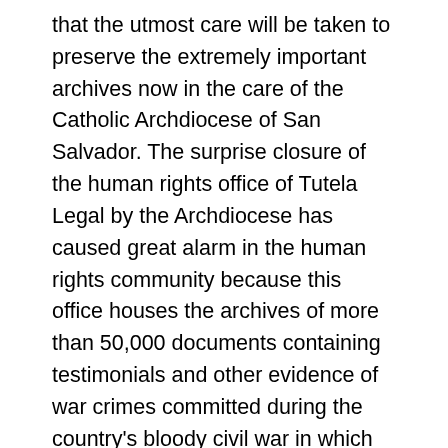that the utmost care will be taken to preserve the extremely important archives now in the care of the Catholic Archdiocese of San Salvador. The surprise closure of the human rights office of Tutela Legal by the Archdiocese has caused great alarm in the human rights community because this office houses the archives of more than 50,000 documents containing testimonials and other evidence of war crimes committed during the country's bloody civil war in which thousands were tortured and murdered. The decision has generated a good deal of consternation in the Salvadoran press and social media, which reacted to the potentially damaging effect of the closure on human rights work in the country. At a time when the Supreme Court is deliberating over the constitutionality of a 1993 amnesty law that has protected war criminals for more than 30 years, the stakes are high for the preservation of historical memory and the safekeeping of the very documents that provide testimonial evidence of the